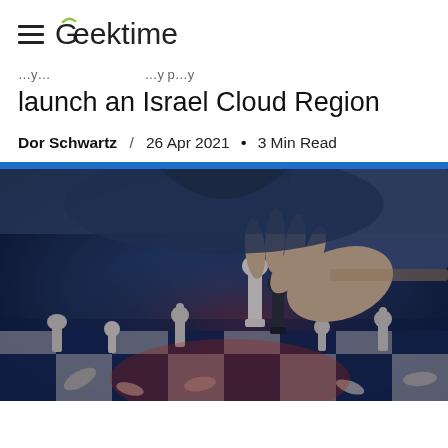Geektime
launch an Israel Cloud Region
Dor Schwartz / 26 Apr 2021 • 3 Min Read
[Figure (photo): A person's hand moving a chess king piece on a chess board, with blue-toned lighting and other chess pieces visible in the foreground and background.]